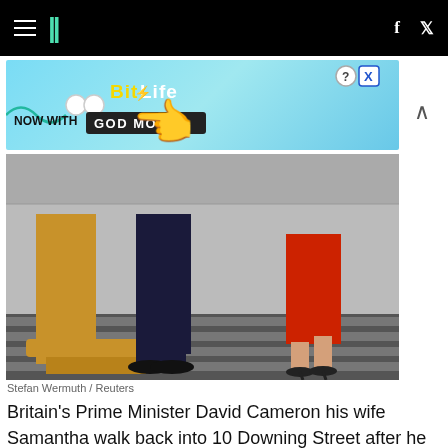HuffPost navigation with hamburger menu, logo, Facebook and Twitter icons
[Figure (photo): BitLife advertisement banner: NOW WITH GOD MODE, featuring a cartoon hand pointing right]
[Figure (photo): Photograph of two people walking on a street near 10 Downing Street. One person in dark trousers and shoes, another in a red dress and black heels, with a wooden podium visible.]
Stefan Wermuth / Reuters
Britain's Prime Minister David Cameron his wife Samantha walk back into 10 Downing Street after he spoke about Britain voting to leave the European Union, in London, Britain June 24, 2016. REUTERS/Phil Noble